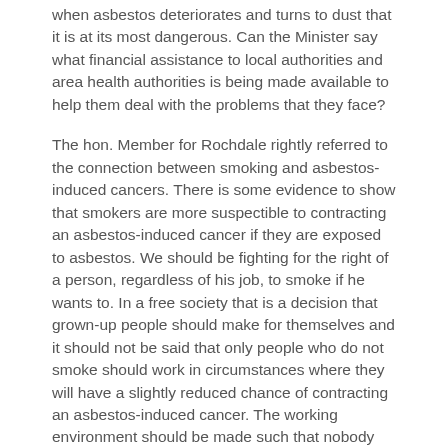when asbestos deteriorates and turns to dust that it is at its most dangerous. Can the Minister say what financial assistance to local authorities and area health authorities is being made available to help them deal with the problems that they face?
The hon. Member for Rochdale rightly referred to the connection between smoking and asbestos-induced cancers. There is some evidence to show that smokers are more suspectible to contracting an asbestos-induced cancer if they are exposed to asbestos. We should be fighting for the right of a person, regardless of his job, to smoke if he wants to. In a free society that is a decision that grown-up people should make for themselves and it should not be said that only people who do not smoke should work in circumstances where they will have a slightly reduced chance of contracting an asbestos-induced cancer. The working environment should be made such that nobody faces that risk.